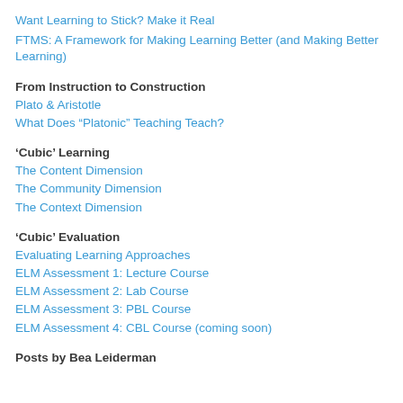Want Learning to Stick? Make it Real
FTMS: A Framework for Making Learning Better (and Making Better Learning)
From Instruction to Construction
Plato & Aristotle
What Does “Platonic” Teaching Teach?
‘Cubic’ Learning
The Content Dimension
The Community Dimension
The Context Dimension
‘Cubic’ Evaluation
Evaluating Learning Approaches
ELM Assessment 1: Lecture Course
ELM Assessment 2: Lab Course
ELM Assessment 3: PBL Course
ELM Assessment 4: CBL Course (coming soon)
Posts by Bea Leiderman